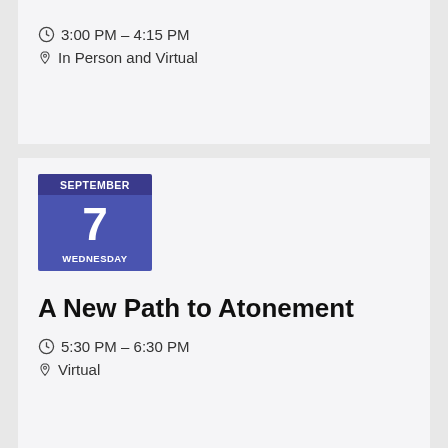3:00 PM – 4:15 PM
In Person and Virtual
SEPTEMBER 7 WEDNESDAY
A New Path to Atonement
5:30 PM – 6:30 PM
Virtual
SEPTEMBER 9 FRIDAY